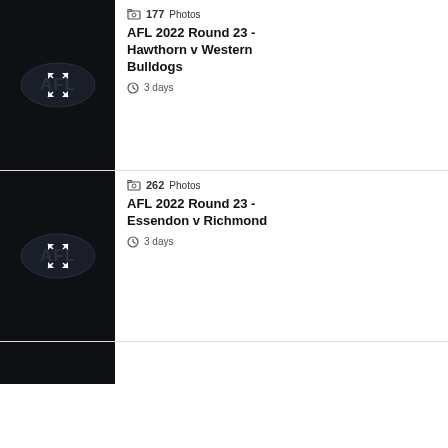[Figure (photo): AFL logo thumbnail image with expand icon, dark background]
177 Photos
AFL 2022 Round 23 - Hawthorn v Western Bulldogs
3 days
[Figure (photo): AFL logo thumbnail image with expand icon, dark background]
262 Photos
AFL 2022 Round 23 - Essendon v Richmond
3 days
[Figure (photo): AFL logo thumbnail image, dark background, partially visible]